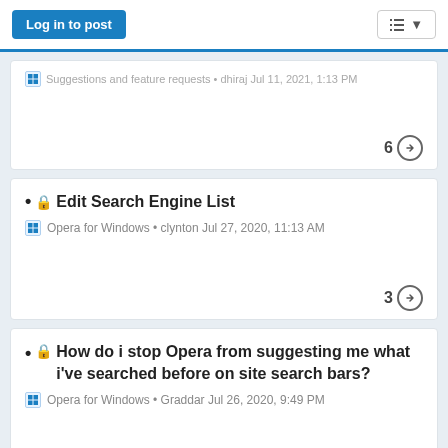Log in to post
Suggestions and feature requests • dhiraj Jul 11, 2021, 1:13 PM
6 →
Edit Search Engine List
Opera for Windows • clynton Jul 27, 2020, 11:13 AM
3 →
How do i stop Opera from suggesting me what i've searched before on site search bars?
Opera for Windows • Graddar Jul 26, 2020, 9:49 PM
1 →